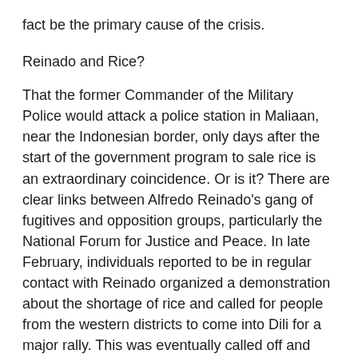fact be the primary cause of the crisis.
Reinado and Rice?
That the former Commander of the Military Police would attack a police station in Maliaan, near the Indonesian border, only days after the start of the government program to sale rice is an extraordinary coincidence. Or is it? There are clear links between Alfredo Reinado's gang of fugitives and opposition groups, particularly the National Forum for Justice and Peace. In late February, individuals reported to be in regular contact with Reinado organized a demonstration about the shortage of rice and called for people from the western districts to come into Dili for a major rally. This was eventually called off and trucks carrying several hundred supporters of the demonstration were escorted out of Dili by the UN Police. Other questions remain: did Reinado go to Maliana with the intention of